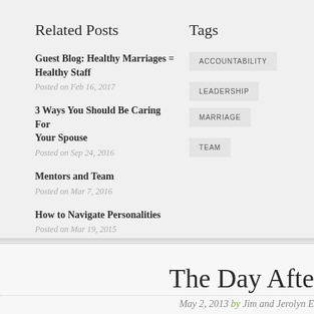Related Posts
Guest Blog: Healthy Marriages = Healthy Staff
Posted on Feb 16, 2017
3 Ways You Should Be Caring For Your Spouse
Posted on Sep 24, 2016
Mentors and Team
Posted on Mar 7, 2016
How to Navigate Personalities
Posted on Mar 19, 2015
Tags
ACCOUNTABILITY
LEADERSHIP
MARRIAGE
TEAM
The Day Afte
May 2, 2013 by Jim and Jerolyn E